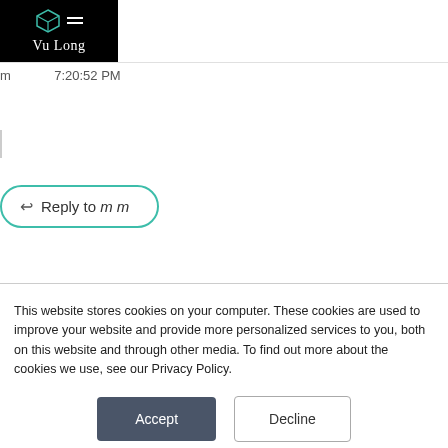[Figure (logo): Vu Long logo on black background with green cube icon and hamburger menu lines]
m 7:20:52 PM
|
↩ Reply to m m
This website stores cookies on your computer. These cookies are used to improve your website and provide more personalized services to you, both on this website and through other media. To find out more about the cookies we use, see our Privacy Policy.
Accept
Decline